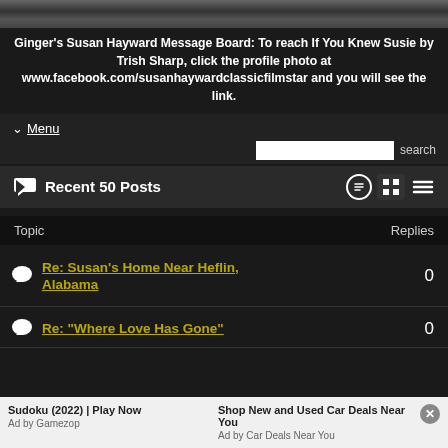[Figure (photo): Partial photo strip at top, black and white textured image of a person]
Ginger's Susan Hayward Message Board: To reach If You Knew Susie by Trish Sharp, click the profile photo at www.facebook.com/susanhaywardclassicfilmstar and you will see the link.
Menu
search
Recent 50 Posts
| Topic | Replies |
| --- | --- |
| Re: Susan's Home Near Heflin, Alabama | 0 |
| Re: "Where Love Has Gone" | 0 |
Sudoku (2022) | Play Now
Ad by Gamezop
Shop New and Used Car Deals Near You
Ad by Car Deals Near You